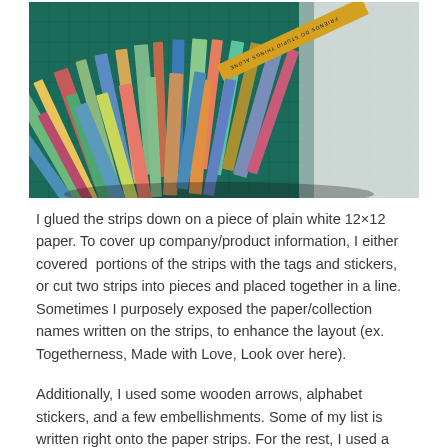[Figure (photo): A photo showing a large collection of colorful paper strips and scrapbooking materials fanned out on a green cutting mat, with a blank white sheet visible on the right side.]
I glued the strips down on a piece of plain white 12×12 paper. To cover up company/product information, I either covered  portions of the strips with the tags and stickers, or cut two strips into pieces and placed together in a line. Sometimes I purposely exposed the paper/collection names written on the strips, to enhance the layout (ex. Togetherness, Made with Love, Look over here).
Additionally, I used some wooden arrows, alphabet stickers, and a few embellishments. Some of my list is written right onto the paper strips. For the rest, I used a